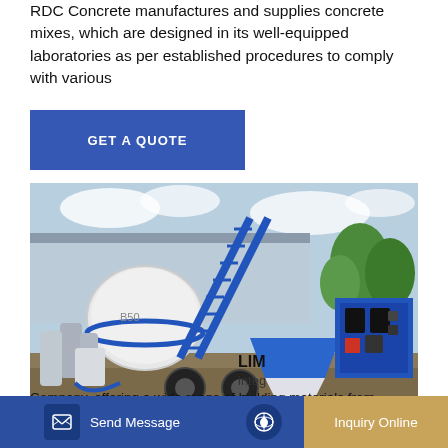RDC Concrete manufactures and supplies concrete mixes, which are designed in its well-equipped laboratories as per established procedures to comply with various
[Figure (other): Blue button/banner reading GET A QUOTE on a blue rectangular background]
[Figure (photo): Photo of a blue and white mobile concrete mixer machine / batching plant on a construction site with a warehouse/shed in the background and trees visible]
LIM
integ
Company, offering a wide range of building materials from
[Figure (other): Bottom navigation bar with Send Message button (blue, left) and Inquiry Online button (tan/gold, right) with icons]